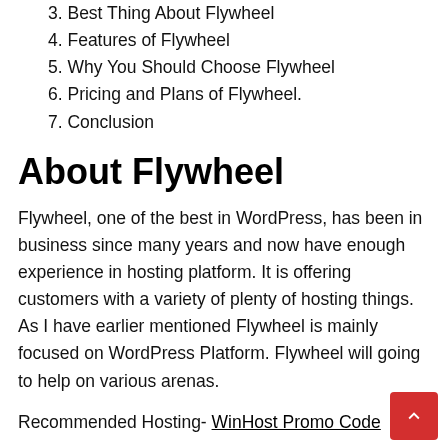3. Best Thing About Flywheel
4. Features of Flywheel
5. Why You Should Choose Flywheel
6. Pricing and Plans of Flywheel.
7. Conclusion
About Flywheel
Flywheel, one of the best in WordPress, has been in business since many years and now have enough experience in hosting platform. It is offering customers with a variety of plenty of hosting things. As I have earlier mentioned Flywheel is mainly focused on WordPress Platform. Flywheel will going to help on various arenas.
Recommended Hosting- WinHost Promo Code
It doesn't matter whether you're making a site just for your kith and kin, it doesn't matter whether you are to for a launch of a large business page, Flywheel is having the sufficient resources to help you. Apart from web web